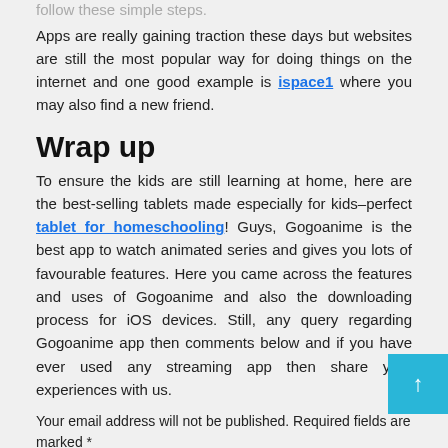follow these simple steps.
Apps are really gaining traction these days but websites are still the most popular way for doing things on the internet and one good example is ispace1 where you may also find a new friend.
Wrap up
To ensure the kids are still learning at home, here are the best-selling tablets made especially for kids–perfect tablet for homeschooling! Guys, Gogoanime is the best app to watch animated series and gives you lots of favourable features. Here you came across the features and uses of Gogoanime and also the downloading process for iOS devices. Still, any query regarding Gogoanime app then comments below and if you have ever used any streaming app then share your experiences with us.
Your email address will not be published. Required fields are marked *
Comment